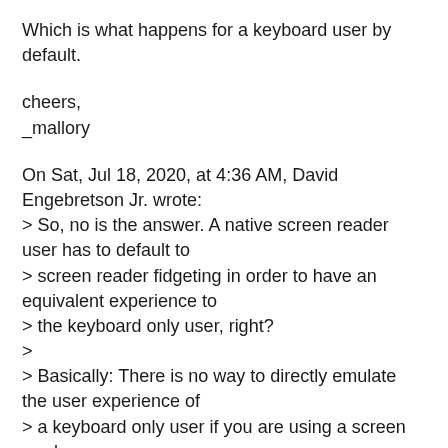Which is what happens for a keyboard user by default.
cheers,
_mallory
On Sat, Jul 18, 2020, at 4:36 AM, David Engebretson Jr. wrote:
> So, no is the answer. A native screen reader user has to default to
> screen reader fidgeting in order to have an equivalent experience to
> the keyboard only user, right?
>
> Basically: There is no way to directly emulate the user experience of
> a keyboard only user if you are using a screen reader.
>